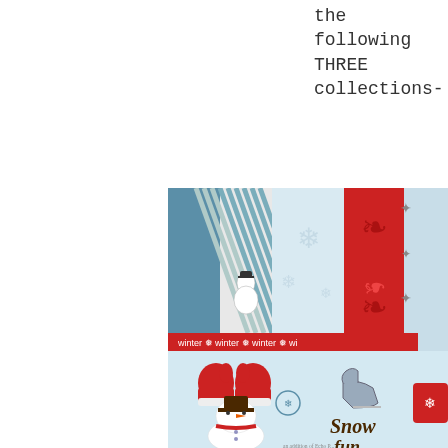the following THREE collections-
[Figure (photo): Winter scrapbooking collection showing decorative papers in blue, red striped and floral patterns along with sticker embellishments featuring mittens, a snowman with top hat, ice skates, snowflakes, and 'Snow fun' text on a light blue background.]